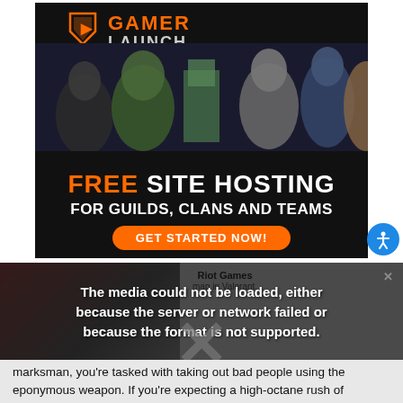[Figure (illustration): Gamer Launch advertisement banner: Logo with arrow/shield icon and 'GAMER LAUNCH' text in orange/white, video game character collage below, black background with text 'FREE SITE HOSTING FOR GUILDS, CLANS AND TEAMS' and orange 'GET STARTED NOW!' button.]
[Figure (screenshot): Video player showing error message: 'The media could not be loaded, either because the server or network failed or because the format is not supported.' overlaid on a dark video thumbnail. Riot Games label and 'map in Valorant' text visible. Large X watermark at bottom.]
marksman, you're tasked with taking out bad people using the eponymous weapon. If you're expecting a high-octane rush of explosions and set pieces à la